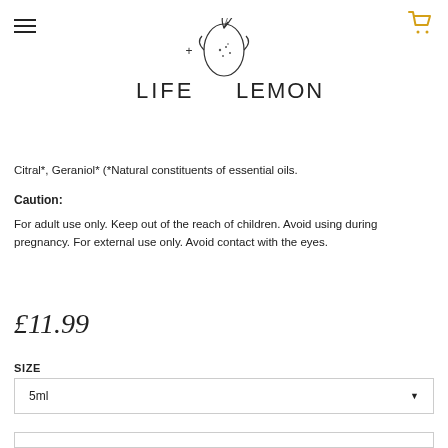Life + Lemons (logo with hamburger menu and cart icon)
[Figure (logo): Life + Lemons brand logo with a hand-drawn lemon and leaf illustration above the text LIFE + LEMONS in a thin serif/sans font]
Citral*, Geraniol* (*Natural constituents of essential oils.
Caution:
For adult use only. Keep out of the reach of children. Avoid using during pregnancy. For external use only. Avoid contact with the eyes.
£11.99
SIZE
5ml